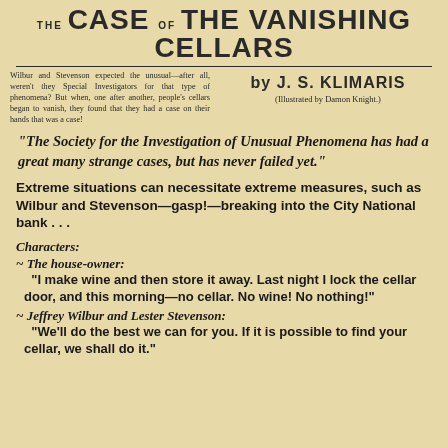THE CASE OF THE VANISHING CELLARS
Wilbur and Stevenson expected the unusual—after all, weren't they Special Investigators for that type of phenomena? But when, one after another, people's cellars began to vanish, they found that they had a case on their hands that was a case!
by J. S. KLIMARIS
(Illustrated by Damon Knight.)
"The Society for the Investigation of Unusual Phenomena has had a great many strange cases, but has never failed yet."
Extreme situations can necessitate extreme measures, such as Wilbur and Stevenson—gasp!—breaking into the City National bank . . .
Characters:
~ The house-owner:
"I make wine and then store it away. Last night I lock the cellar door, and this morning—no cellar. No wine! No nothing!"
~ Jeffrey Wilbur and Lester Stevenson:
"We'll do the best we can for you. If it is possible to find your cellar, we shall do it."